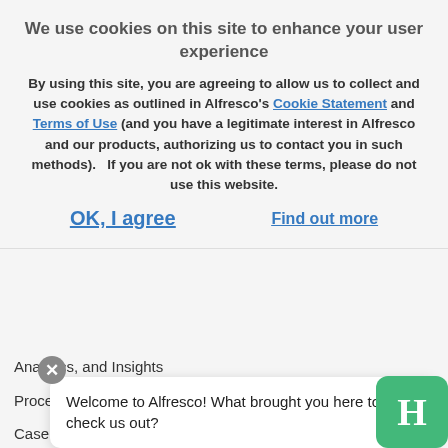We use cookies on this site to enhance your user experience
By using this site, you are agreeing to allow us to collect and use cookies as outlined in Alfresco’s Cookie Statement and Terms of Use (and you have a legitimate interest in Alfresco and our products, authorizing us to contact you in such methods).   If you are not ok with these terms, please do not use this website.
OK, I agree
Find out more
Analytics, and Insights
Process Management
Case Management
Alfresco Proc… Services (BPM…
Welcome to Alfresco! What brought you here to check us out?